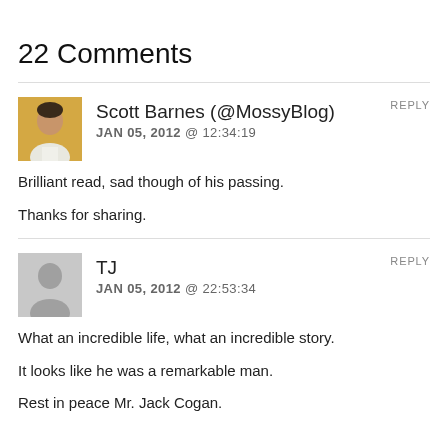22 Comments
Scott Barnes (@MossyBlog)
JAN 05, 2012 @ 12:34:19
Brilliant read, sad though of his passing.

Thanks for sharing.
TJ
JAN 05, 2012 @ 22:53:34
What an incredible life, what an incredible story.

It looks like he was a remarkable man.

Rest in peace Mr. Jack Cogan.